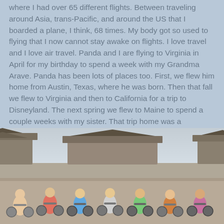where I had over 65 different flights. Between traveling around Asia, trans-Pacific, and around the US that I boarded a plane, I think, 68 times. My body got so used to flying that I now cannot stay awake on flights. I love travel and I love air travel. Panda and I are flying to Virginia in April for my birthday to spend a week with my Grandma Arave. Panda has been lots of places too. First, we flew him home from Austin, Texas, where he was born. Then that fall we flew to Virginia and then to California for a trip to Disneyland. The next spring we flew to Maine to spend a couple weeks with my sister. That trip home was a nightmare with a cancelled flight and an airline who couldn't get us home sooner than 3 days later, but he was a trooper. I am nervous to fly this time, as he has become so independent, but a leash and a kindle fire ought to help.
[Figure (photo): Group of people on bicycles in front of Chinese architecture/pagoda on what appears to be a city wall or plaza. Hazy sky in background.]